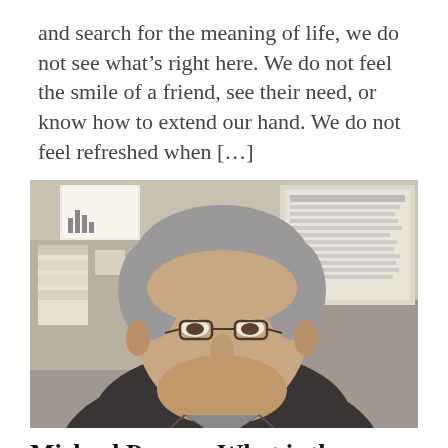and search for the meaning of life, we do not see what's right here. We do not feel the smile of a friend, see their need, or know how to extend our hand. We do not feel refreshed when [...]
[Figure (photo): Portrait photo of an older man with grey hair and glasses, wearing a dark suit jacket, seated in an office with papers and charts visible in the background.]
Michael Posner: What is the Meaning of Life?